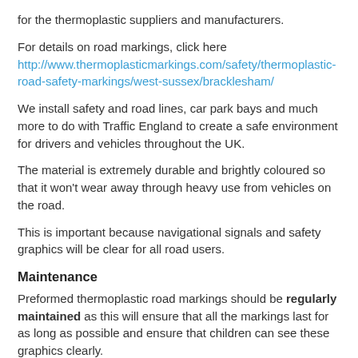for the thermoplastic suppliers and manufacturers.
For details on road markings, click here http://www.thermoplasticmarkings.com/safety/thermoplastic-road-safety-markings/west-sussex/bracklesham/
We install safety and road lines, car park bays and much more to do with Traffic England to create a safe environment for drivers and vehicles throughout the UK.
The material is extremely durable and brightly coloured so that it won't wear away through heavy use from vehicles on the road.
This is important because navigational signals and safety graphics will be clear for all road users.
Maintenance
Preformed thermoplastic road markings should be regularly maintained as this will ensure that all the markings last for as long as possible and ensure that children can see these graphics clearly.